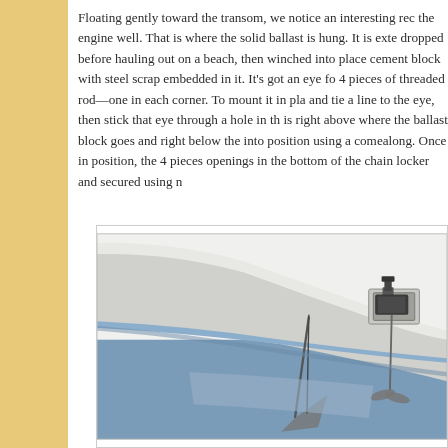Floating gently toward the transom, we notice an interesting rec the engine well. That is where the solid ballast is hung. It is exte dropped before hauling out on a beach, then winched into place cement block with steel scrap embedded in it. It's got an eye fo 4 pieces of threaded rod—one in each corner. To mount it in pla and tie a line to the eye, then stick that eye through a hole in th is right above where the ballast block goes and right below the into position using a comealong. Once in position, the 4 pieces openings in the bottom of the chain locker and secured using n
[Figure (illustration): Illustration of the stern/transom area of a sailboat, showing the hull above and below the waterline. The boat is white with a blue waterline and darker blue water below. Visible are what appears to be a rudder assembly, a motor mount or engine well bracket on the transom, and the keel/ballast area below the waterline. The image is cropped showing the starboard quarter from slightly below.]